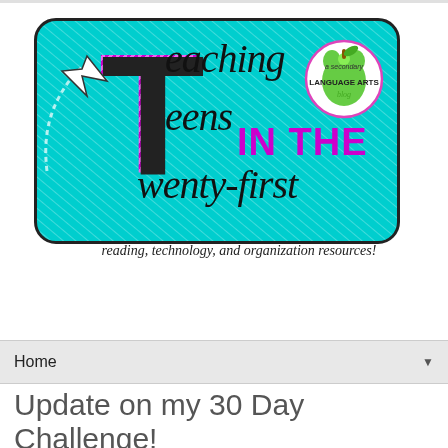[Figure (logo): Teaching Teens in the Twenty-first Century blog logo — teal rounded rectangle with diagonal hatch pattern, large magenta T, cursive/italic black text reading 'eaching', 'eens', 'wenty-first', magenta bold 'IN THE', a white arrow pointing to the T, and a circular apple badge reading 'a secondary LANGUAGE ARTS blog'. Subtitle reads: 'reading, technology, and organization resources!']
Home ▼
Update on my 30 Day Challenge!